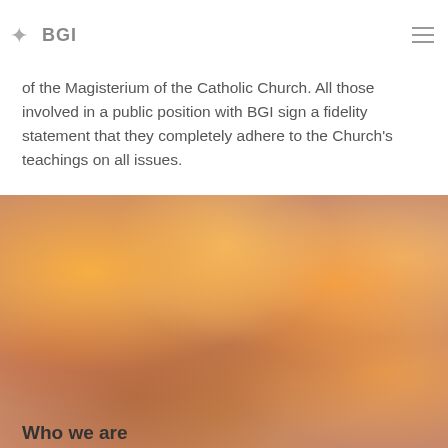BGI
of the Magisterium of the Catholic Church. All those involved in a public position with BGI sign a fidelity statement that they completely adhere to the Church's teachings on all issues.
[Figure (photo): Blurred close-up photograph of lit candles with warm orange and yellow tones]
Who we are